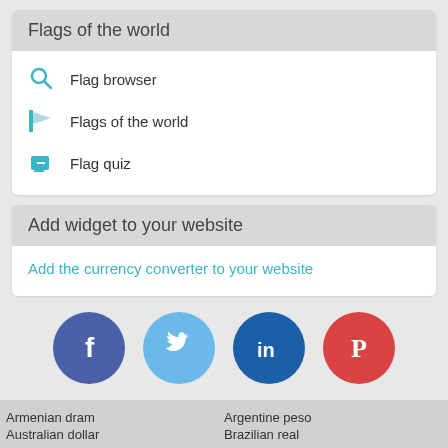Flags of the world
Flag browser
Flags of the world
Flag quiz
Add widget to your website
Add the currency converter to your website
[Figure (infographic): Social media icons: Facebook (blue circle with f), Twitter (light blue circle with bird), LinkedIn (dark blue circle with in), Pinterest (red circle with P)]
Armenian dram   Argentine peso   Australian dollar   Brazilian real